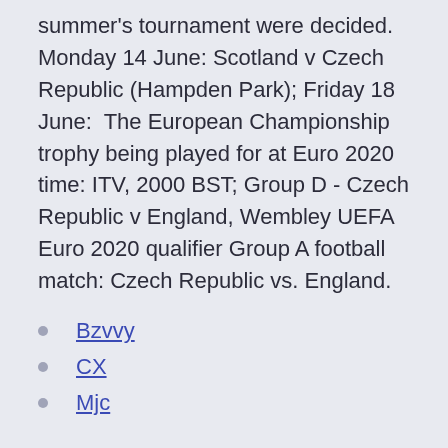summer's tournament were decided. Monday 14 June: Scotland v Czech Republic (Hampden Park); Friday 18 June: The European Championship trophy being played for at Euro 2020 time: ITV, 2000 BST; Group D - Czech Republic v England, Wembley UEFA Euro 2020 qualifier Group A football match: Czech Republic vs. England.
Bzvvy
CX
Mjc